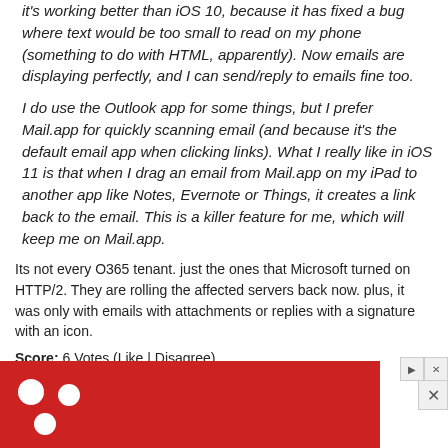it's working better than iOS 10, because it has fixed a bug where text would be too small to read on my phone (something to do with HTML, apparently). Now emails are displaying perfectly, and I can send/reply to emails fine too.
I do use the Outlook app for some things, but I prefer Mail.app for quickly scanning email (and because it's the default email app when clicking links). What I really like in iOS 11 is that when I drag an email from Mail.app on my iPad to another app like Notes, Evernote or Things, it creates a link back to the email. This is a killer feature for me, which will keep me on Mail.app.
Its not every O365 tenant. just the ones that Microsoft turned on HTTP/2. They are rolling the affected servers back now. plus, it was only with emails with attachments or replies with a signature with an icon.
Score: 6 Votes (Like | Disagree)
[Figure (other): Read All Comments button with a close/dismiss X button to the right]
[Figure (other): Red advertisement banner with white dot decorations and playback/close controls]